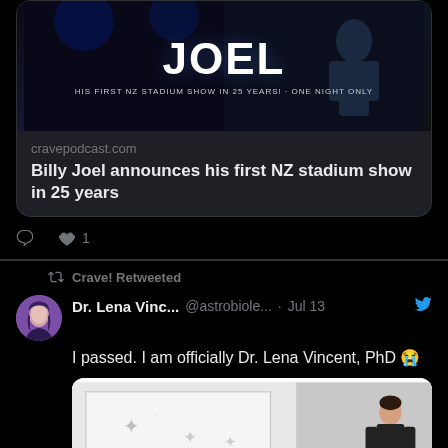[Figure (screenshot): Screenshot of tweets on a dark-themed Twitter/X interface. Top section shows a link card for a Billy Joel NZ stadium show article from cravepodcast.com with a dark concert promotional image showing 'BILLY JOEL' and 'HIS FIRST NZ STADIUM SHOW IN 25 YEARS! · ONE NIGHT ONLY'. Below the card are reply and like icons with count '1'. Second section shows a retweet notice 'Crave! Retweeted' followed by a tweet from Dr. Lena Vinc... @astrobiole... · Jul 13 reading 'I passed. I am officially Dr. Lena Vincent, PhD 😭' with a photo of someone standing by a whiteboard/presentation screen.]